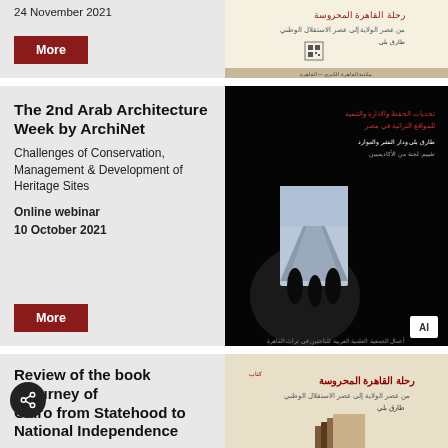24 November 2021
More
[Figure (illustration): Book cover with Arabic text on beige background with QR code]
The 2nd Arab Architecture Week by ArchiNet
Challenges of Conservation, Management & Development of Heritage Sites
Online webinar
10 October 2021
More
[Figure (photo): Dark image showing silhouettes of people near pyramids with Arabic text and logo overlay]
Review of the book "Journey of Cairo from Statehood to National Independence
A presentation & book review by Egyptian academics
The Greater Cairo Library – Cairo
[Figure (illustration): Book cover with Arabic calligraphic title in red on textured beige background]